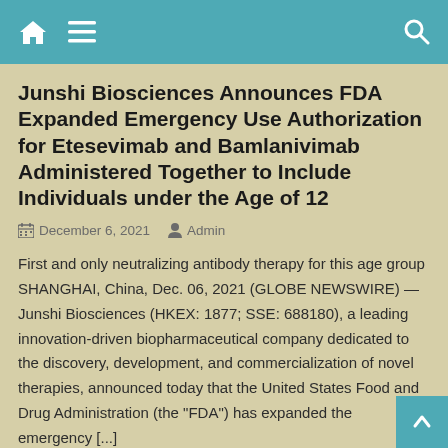Navigation header with home icon, menu icon, and search icon
Junshi Biosciences Announces FDA Expanded Emergency Use Authorization for Etesevimab and Bamlanivimab Administered Together to Include Individuals under the Age of 12
December 6, 2021   Admin
First and only neutralizing antibody therapy for this age group SHANGHAI, China, Dec. 06, 2021 (GLOBE NEWSWIRE) — Junshi Biosciences (HKEX: 1877; SSE: 688180), a leading innovation-driven biopharmaceutical company dedicated to the discovery, development, and commercialization of novel therapies, announced today that the United States Food and Drug Administration (the "FDA") has expanded the emergency [...]